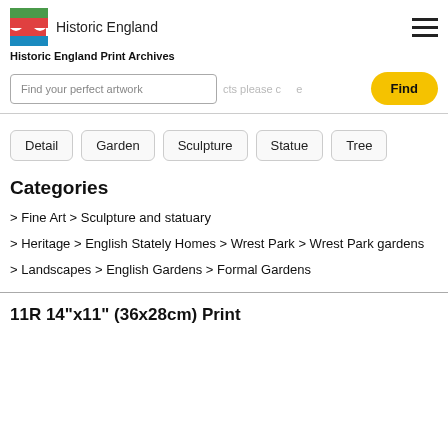[Figure (logo): Historic England logo with coloured flag stripes and text]
Historic England Print Archives
Find your perfect artwork | Find
Detail
Garden
Sculpture
Statue
Tree
Categories
> Fine Art > Sculpture and statuary
> Heritage > English Stately Homes > Wrest Park > Wrest Park gardens
> Landscapes > English Gardens > Formal Gardens
11R 14"x11" (36x28cm) Print